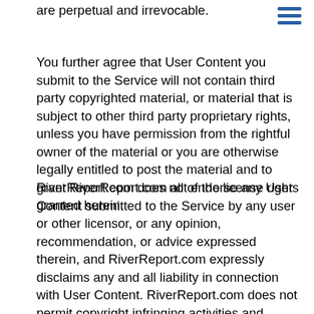are perpetual and irrevocable.
You further agree that User Content you submit to the Service will not contain third party copyrighted material, or material that is subject to other third party proprietary rights, unless you have permission from the rightful owner of the material or you are otherwise legally entitled to post the material and to grant RiverReport.com all of the license rights granted herein.
RiverReport.com does not endorse any User Content submitted to the Service by any user or other licensor, or any opinion, recommendation, or advice expressed therein, and RiverReport.com expressly disclaims any and all liability in connection with User Content. RiverReport.com does not permit copyright infringing activities and infringement of intellectual property rights on the Service, and RiverReport.com will remove all User Content if properly notified that such User Content infringes on another's intellectual property rights. RiverReport.com further does not permit User Content that contains any defamatory, libelous, pornographic, defamatory, offensive, or otherwise unlawful or immoral content; hate speech; illegal material; exploits minors; depicts unlawful or violent acts; violates our content